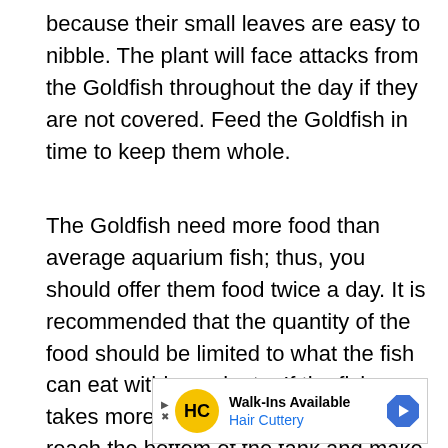because their small leaves are easy to nibble. The plant will face attacks from the Goldfish throughout the day if they are not covered. Feed the Goldfish in time to keep them whole.
The Goldfish need more food than average aquarium fish; thus, you should offer them food twice a day. It is recommended that the quantity of the food should be limited to what the fish can eat within a minute. If the fish takes more time to eat, the food will reach the bottom of the tank and make it water dirty.
[Figure (other): Advertisement for Hair Cuttery: Walk-Ins Available, with yellow HC logo and blue navigation arrow icon]